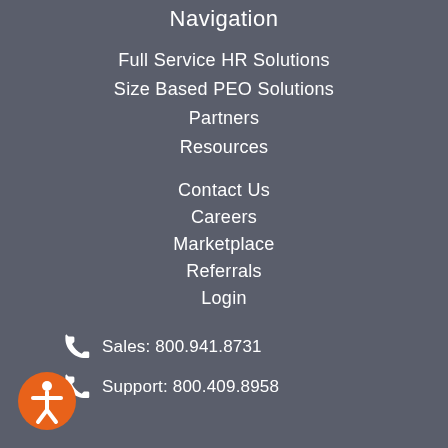Navigation
Full Service HR Solutions
Size Based PEO Solutions
Partners
Resources
Contact Us
Careers
Marketplace
Referrals
Login
Sales: 800.941.8731
Support: 800.409.8958
[Figure (illustration): Orange accessibility icon button at bottom left]